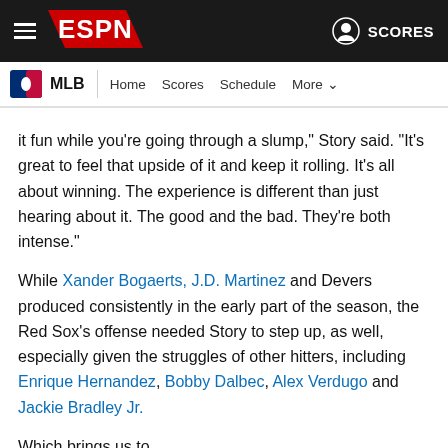ESPN — MLB | Home Scores Schedule More | SCORES
it fun while you're going through a slump," Story said. "It's great to feel that upside of it and keep it rolling. It's all about winning. The experience is different than just hearing about it. The good and the bad. They're both intense."
While Xander Bogaerts, J.D. Martinez and Devers produced consistently in the early part of the season, the Red Sox's offense needed Story to step up, as well, especially given the struggles of other hitters, including Enrique Hernandez, Bobby Dalbec, Alex Verdugo and Jackie Bradley Jr.
Which brings us to ...
The offense, as a whole, has been much